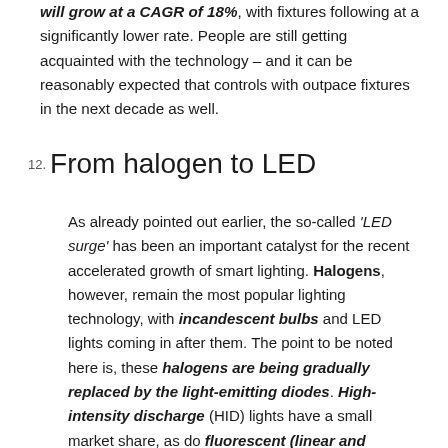will grow at a CAGR of 18%, with fixtures following at a significantly lower rate. People are still getting acquainted with the technology – and it can be reasonably expected that controls with outpace fixtures in the next decade as well.
12. From halogen to LED
As already pointed out earlier, the so-called 'LED surge' has been an important catalyst for the recent accelerated growth of smart lighting. Halogens, however, remain the most popular lighting technology, with incandescent bulbs and LED lights coming in after them. The point to be noted here is, these halogens are being gradually replaced by the light-emitting diodes. High-intensity discharge (HID) lights have a small market share, as do fluorescent (linear and compact) lights.